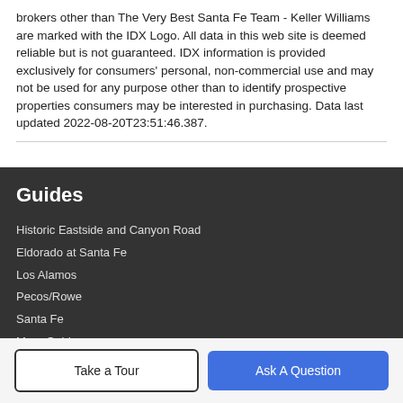brokers other than The Very Best Santa Fe Team - Keller Williams are marked with the IDX Logo. All data in this web site is deemed reliable but is not guaranteed. IDX information is provided exclusively for consumers' personal, non-commercial use and may not be used for any purpose other than to identify prospective properties consumers may be interested in purchasing. Data last updated 2022-08-20T23:51:46.387.
Guides
Historic Eastside and Canyon Road
Eldorado at Santa Fe
Los Alamos
Pecos/Rowe
Santa Fe
More Guides >
Take a Tour
Ask A Question